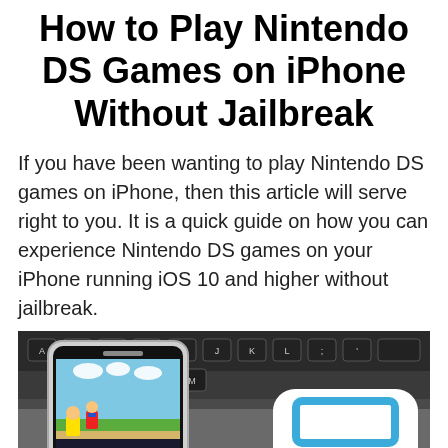How to Play Nintendo DS Games on iPhone Without Jailbreak
If you have been wanting to play Nintendo DS games on iPhone, then this article will serve right to you. It is a quick guide on how you can experience Nintendo DS games on your iPhone running iOS 10 and higher without jailbreak.
[Figure (photo): A smartphone displaying a Nintendo DS game (Mario) placed on a laptop keyboard, with a white app icon showing two stacked rectangles in blue on the right side.]